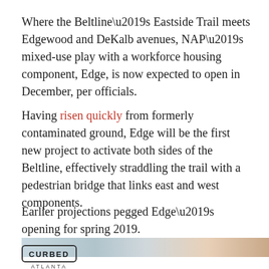Where the Beltline’s Eastside Trail meets Edgewood and DeKalb avenues, NAP’s mixed-use play with a workforce housing component, Edge, is now expected to open in December, per officials.
Having risen quickly from formerly contaminated ground, Edge will be the first new project to activate both sides of the Beltline, effectively straddling the trail with a pedestrian bridge that links east and west components.
Earlier projections pegged Edge’s opening for spring 2019.
[Figure (photo): Partial view of a construction site / building exterior, cropped strip showing sky and structure]
[Figure (logo): Curbed Atlanta logo — rectangular border with CURBED text and ATLANTA below]